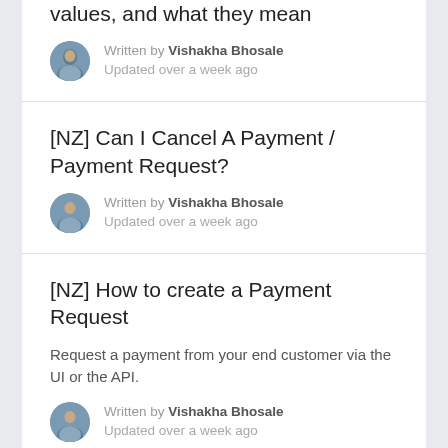values, and what they mean
Written by Vishakha Bhosale
Updated over a week ago
[NZ] Can I Cancel A Payment / Payment Request?
Written by Vishakha Bhosale
Updated over a week ago
[NZ] How to create a Payment Request
Request a payment from your end customer via the UI or the API.
Written by Vishakha Bhosale
Updated over a week ago